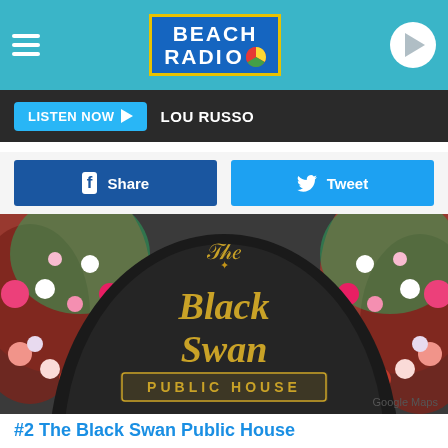BEACH RADIO
LISTEN NOW  LOU RUSSO
Share  Tweet
[Figure (photo): Sign for The Black Swan Public House, with gold lettering on a dark arch background, surrounded by pink and white floral arrangements]
Google Maps
#2  The Black Swan Public House